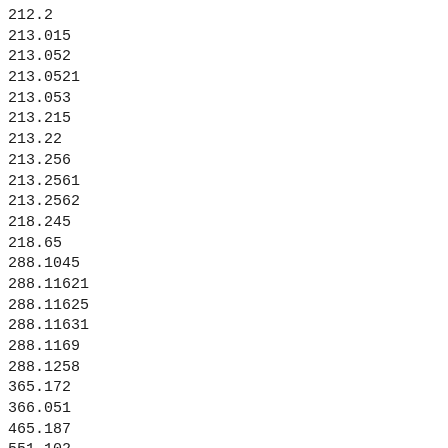212.2
213.015
213.052
213.0521
213.053
213.215
213.22
213.256
213.2561
213.2562
218.245
218.65
288.1045
288.11621
288.11625
288.11631
288.1169
288.1258
365.172
366.051
465.187
551.102
634.131
634.415
790.0655
921.0022